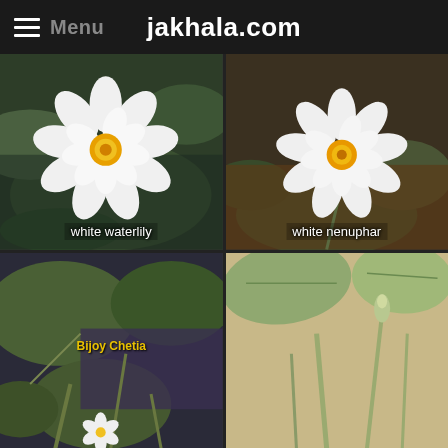jakhala.com
[Figure (photo): White waterlily flower with yellow center floating on lily pads in water, overhead view]
white waterlily
[Figure (photo): White nenuphar flower with yellow center on lily pads and muddy water]
white nenuphar
[Figure (photo): Waterlily pads and stems in water with a small white flower visible at bottom, watermark reads Bijoy Chetia]
Bijoy Chetia
[Figure (photo): Waterlily plant on dry sandy ground showing leaves, stem, and a bud]